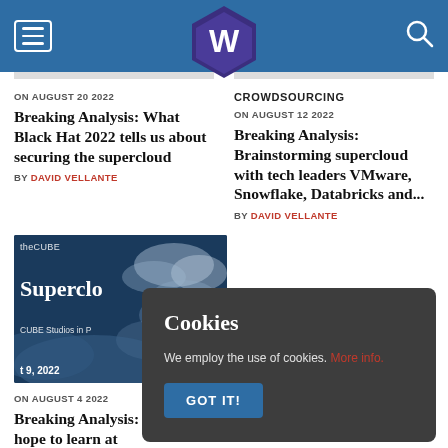Navigation bar with hamburger menu, W logo, and search icon
CROWDSOURCING
ON AUGUST 20 2022
Breaking Analysis: What Black Hat 2022 tells us about securing the supercloud
BY DAVID VELLANTE
ON AUGUST 12 2022
Breaking Analysis: Brainstorming supercloud with tech leaders VMware, Snowflake, Databricks and...
BY DAVID VELLANTE
[Figure (photo): theCUBE Supercloud CUBE Studios in P... t 9, 2022 - dark blue background with cloud imagery]
ON AUGUST 4 2022
Breaking Analysis: hope to learn at Supercloud??
Cookies
We employ the use of cookies. More info.
GOT IT!